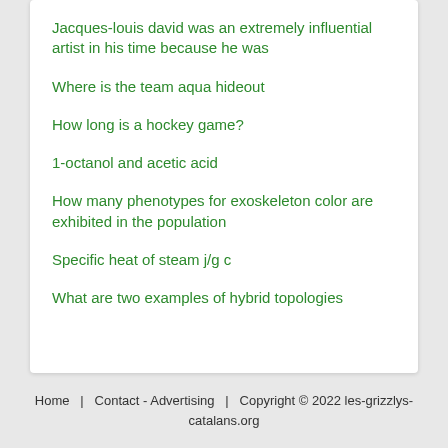Jacques-louis david was an extremely influential artist in his time because he was
Where is the team aqua hideout
How long is a hockey game?
1-octanol and acetic acid
How many phenotypes for exoskeleton color are exhibited in the population
Specific heat of steam j/g c
What are two examples of hybrid topologies
Home   Contact - Advertising   Copyright © 2022 les-grizzlys-catalans.org